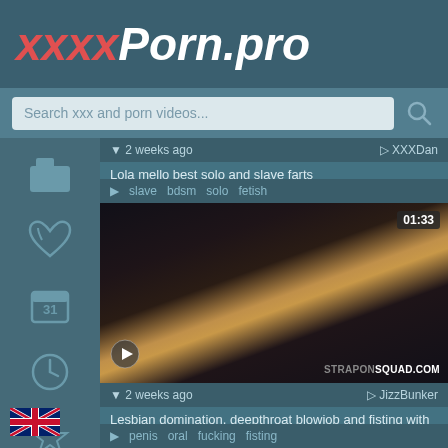xxxxPorn.pro
Search xxx and porn videos...
2 weeks ago  XXXDan
Lola mello best solo and slave farts
slave  bdsm  solo  fetish
[Figure (screenshot): Video thumbnail showing duration badge 01:33, play button, and STRAPONSQUAD.COM watermark]
2 weeks ago  JizzBunker
Lesbian domination, deepthroat blowjob and fisting with
penis  oral  fucking  fisting